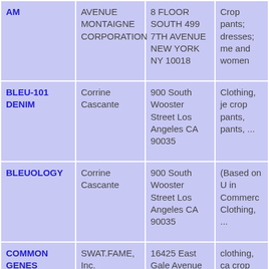| Brand | Company | Address | Description |
| --- | --- | --- | --- |
| AM | AVENUE MONTAIGNE CORPORATION | 8 FLOOR SOUTH 499 7TH AVENUE NEW YORK NY 10018 | Crop pants; dresses; me and women |
| BLEU-101 DENIM | Corrine Cascante | 900 South Wooster Street Los Angeles CA 90035 | Clothing, je crop pants, pants, ... |
| BLEUOLOGY | Corrine Cascante | 900 South Wooster Street Los Angeles CA 90035 | (Based on U in Commerc Clothing, ... |
| COMMON GENES | SWAT.FAME, Inc. | 16425 East Gale Avenue City of | clothing, ca crop pants, Bermuda sh |